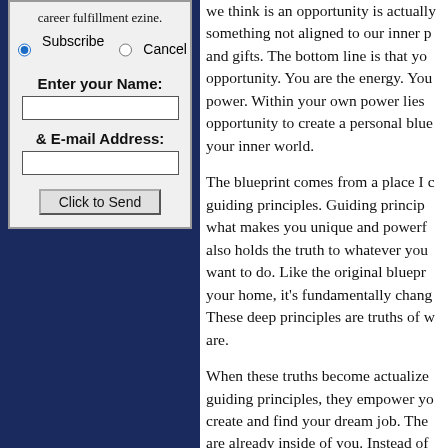career fulfillment ezine.
Subscribe   Cancel
Enter your Name:
& E-mail Address:
Click to Send
we think is an opportunity is actually something not aligned to our inner p... and gifts. The bottom line is that yo... opportunity. You are the energy. You power. Within your own power lies opportunity to create a personal blue your inner world.
The blueprint comes from a place I c guiding principles. Guiding princip... what makes you unique and powerf... also holds the truth to whatever you want to do. Like the original bluepr... your home, it's fundamentally chang... These deep principles are truths of w are.
When these truths become actualize guiding principles, they empower yo create and find your dream job. The are already inside of you. Instead of from a place outside of you to find y dream job, you are coming from ins... yourself. From this inside-out mode fundamental truth will reveal the jo... ...